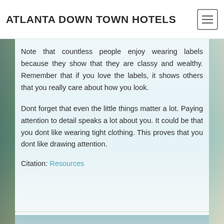ATLANTA DOWN TOWN HOTELS
Note that countless people enjoy wearing labels because they show that they are classy and wealthy. Remember that if you love the labels, it shows others that you really care about how you look.
Dont forget that even the little things matter a lot. Paying attention to detail speaks a lot about you. It could be that you dont like wearing tight clothing. This proves that you dont like drawing attention.
Citation: Resources